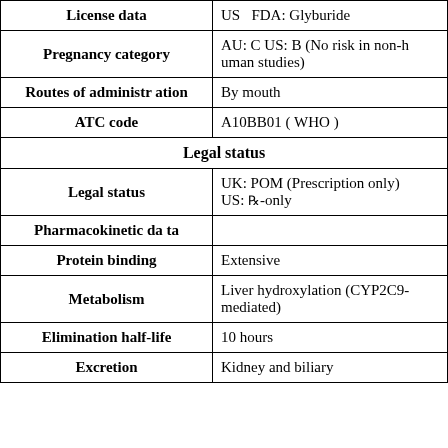| License data | US   FDA: Glyburide |
| Pregnancy category | AU: C US: B (No risk in non-human studies) |
| Routes of administration | By mouth |
| ATC code | A10BB01 ( WHO ) |
| Legal status |  |
| Legal status | UK: POM (Prescription only)
US: Rx-only |
| Pharmacokinetic data |  |
| Protein binding | Extensive |
| Metabolism | Liver hydroxylation (CYP2C9-mediated) |
| Elimination half-life | 10 hours |
| Excretion | Kidney and biliary |